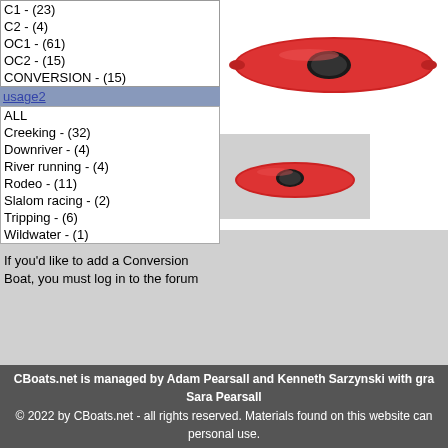C1 - (23)
C2 - (4)
OC1 - (61)
OC2 - (15)
CONVERSION - (15)
usage2
ALL
Creeking - (32)
Downriver - (4)
River running - (4)
Rodeo - (11)
Slalom racing - (2)
Tripping - (6)
Wildwater - (1)
If you'd like to add a Conversion Boat, you must log in to the forum
[Figure (photo): Red kayak boat top view]
[Figure (photo): Red kayak boat side view small]
Manufacturer: Dagger
Designer: Andy Bridge
Year: 1998
Material: Plastic
Primary Use: River running
Secondary Use: Rodeo
Search for this Boat of the Week (might not have results)
Description:
Great all-around river runni... Some use in recreational s... as well. Difficult to stern sq... are under 180lbs or so.
User Comment:
Almost as stable as a Casc... almost as fast as a Slasher... around river-runner. Stern s... possible, bow surfs nicely.
CBoats.net is managed by Adam Pearsall and Kenneth Sarzynski with gra... Sara Pearsall
© 2022 by CBoats.net - all rights reserved. Materials found on this website can... personal use.